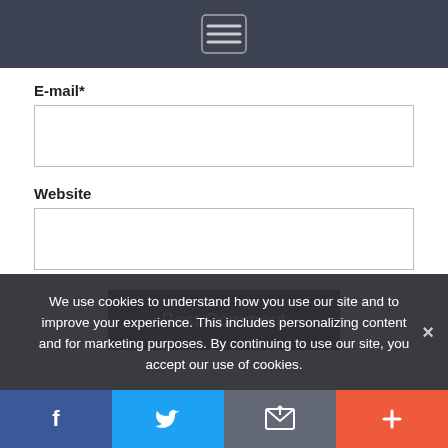[Figure (screenshot): Dark header bar with hamburger menu icon (three horizontal lines)]
E-mail*
[Figure (screenshot): Empty text input box for E-mail field]
Website
[Figure (screenshot): Empty text input box for Website field]
Post Comment
We use cookies to understand how you use our site and to improve your experience. This includes personalizing content and for marketing purposes. By continuing to use our site, you accept our use of cookies.
[Figure (screenshot): Bottom social share bar with Facebook, Twitter, email/share, and plus buttons]